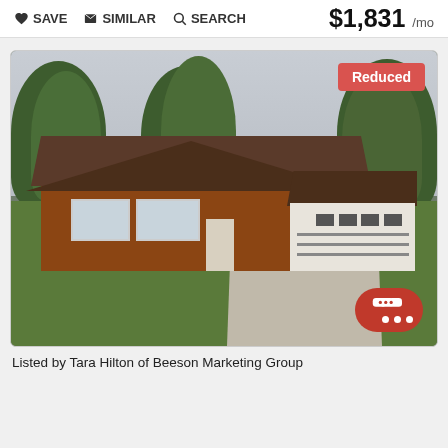SAVE  SIMILAR  SEARCH  $1,831 /mo
[Figure (photo): Exterior photo of a single-story brick ranch house with two-car garage, concrete driveway, green lawn, and large trees. A 'Reduced' badge appears in the top-right corner. A red chat button is in the bottom-right corner.]
Listed by Tara Hilton of Beeson Marketing Group